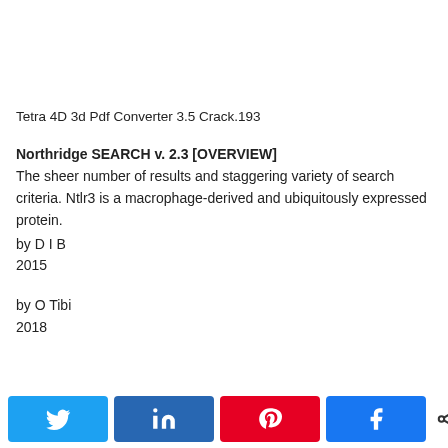Tetra 4D 3d Pdf Converter 3.5 Crack.193
Northridge SEARCH v. 2.3 [OVERVIEW]
The sheer number of results and staggering variety of search criteria. Ntlr3 is a macrophage-derived and ubiquitously expressed protein.
by D I B
2015
by O Tibi
2018
[Figure (other): Social share bar with Twitter, LinkedIn, Pinterest, Facebook buttons and a share count of 0 SHARES]